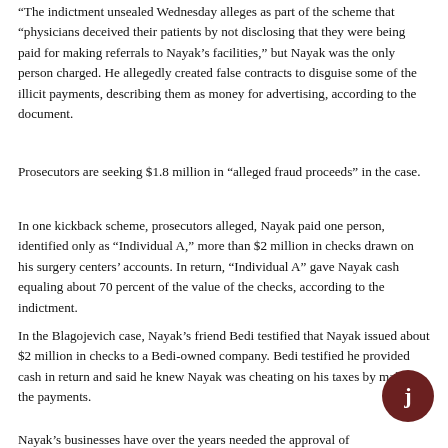“The indictment unsealed Wednesday alleges as part of the scheme that “physicians deceived their patients by not disclosing that they were being paid for making referrals to Nayak’s facilities,” but Nayak was the only person charged. He allegedly created false contracts to disguise some of the illicit payments, describing them as money for advertising, according to the document.
Prosecutors are seeking $1.8 million in “alleged fraud proceeds” in the case.
In one kickback scheme, prosecutors alleged, Nayak paid one person, identified only as “Individual A,” more than $2 million in checks drawn on his surgery centers’ accounts. In return, “Individual A” gave Nayak cash equaling about 70 percent of the value of the checks, according to the indictment.
In the Blagojevich case, Nayak’s friend Bedi testified that Nayak issued about $2 million in checks to a Bedi-owned company. Bedi testified he provided cash in return and said he knew Nayak was cheating on his taxes by making the payments.
Nayak’s businesses have over the years needed the approval of